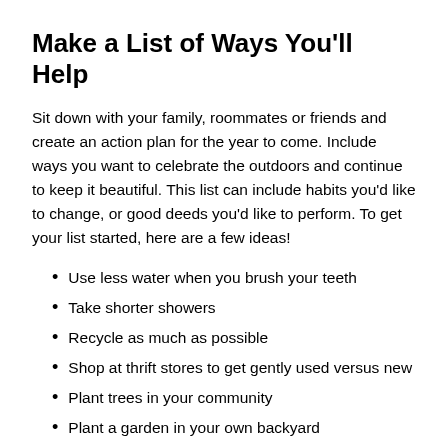Make a List of Ways You'll Help
Sit down with your family, roommates or friends and create an action plan for the year to come. Include ways you want to celebrate the outdoors and continue to keep it beautiful. This list can include habits you'd like to change, or good deeds you'd like to perform. To get your list started, here are a few ideas!
Use less water when you brush your teeth
Take shorter showers
Recycle as much as possible
Shop at thrift stores to get gently used versus new
Plant trees in your community
Plant a garden in your own backyard
June is the first official month of summer, which makes it